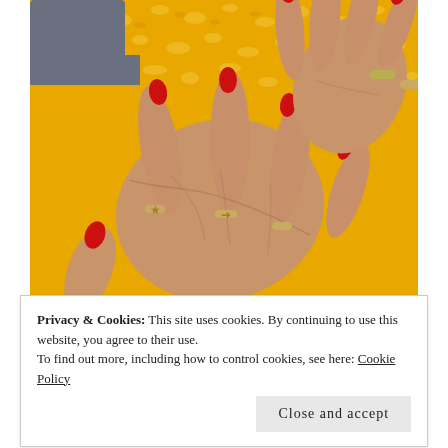[Figure (photo): Close-up photograph of elderly hands with red painted nails and decorative rings (star, arrow, arrow shape) resting on a yellow leopard-print background. One hand extends from a gray sleeve.]
Privacy & Cookies: This site uses cookies. By continuing to use this website, you agree to their use.
To find out more, including how to control cookies, see here: Cookie Policy
Close and accept
On aging